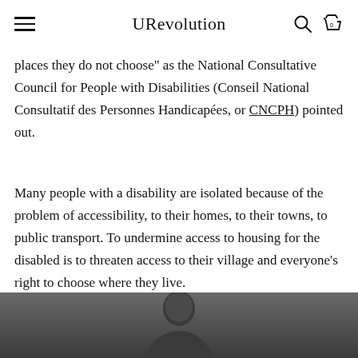URevolution
places they do not choose" as the National Consultative Council for People with Disabilities (Conseil National Consultatif des Personnes Handicapées, or CNCPH) pointed out.
Many people with a disability are isolated because of the problem of accessibility, to their homes, to their towns, to public transport. To undermine access to housing for the disabled is to threaten access to their village and everyone's right to choose where they live.
[Figure (photo): Black and white photo of a person, partially visible at bottom of page]